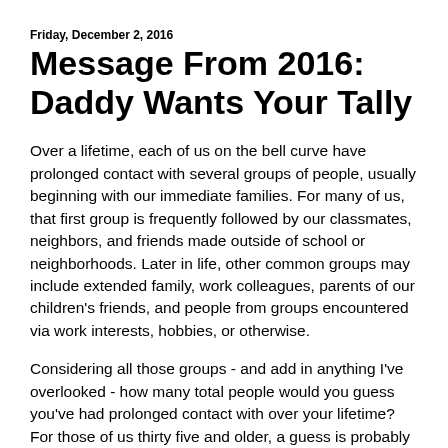Friday, December 2, 2016
Message From 2016: Daddy Wants Your Tally
Over a lifetime, each of us on the bell curve have prolonged contact with several groups of people, usually beginning with our immediate families. For many of us, that first group is frequently followed by our classmates, neighbors, and friends made outside of school or neighborhoods. Later in life, other common groups may include extended family, work colleagues, parents of our children's friends, and people from groups encountered via work interests, hobbies, or otherwise.
Considering all those groups - and add in anything I've overlooked - how many total people would you guess you've had prolonged contact with over your lifetime? For those of us thirty five and older, a guess is probably the best we can do. But if Facebook and other social media platforms continue to thrive, in 2056 when my millennial twenty seven